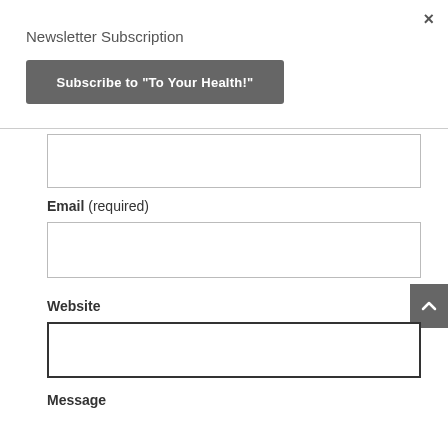×
Newsletter Subscription
Subscribe to "To Your Health!"
Email (required)
Website
Message